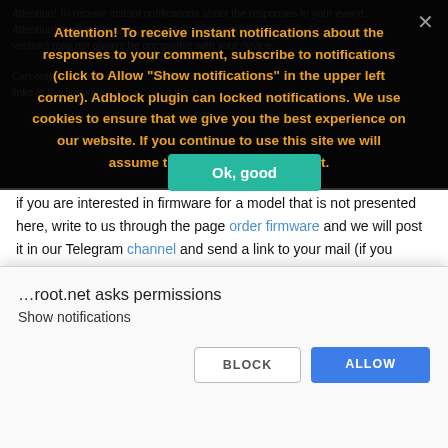[Figure (screenshot): Dark-background website content showing text about firmware downloads, partially visible behind cookie consent overlay]
Attention! To receive instant notifications about the responses to your comment, subscribe to notifications (click to Allow "Show notifications" in the upper left corner). Adblock plugin can locked notifications. We use cookies to ensure that we give you the best experience on our website. If you continue to use this site we will assume that you are happy with it.
Ok, good
if you are interested in firmware for a model that is not presented here, write to us through the page order firmware and we will post it in our Telegram channel and send a link to your mail (if you specify it).
HOW I...
…root.net asks permissions
Show notifications
BLOCK
ALLOW